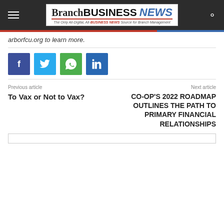Branch BUSINESS NEWS — The Only All-Digital, All-BUSINESS NEWS Source for Branch Management
arborfcu.org to learn more.
[Figure (infographic): Social share buttons: Facebook (blue-purple), Twitter (light blue), WhatsApp (green), LinkedIn (blue)]
Previous article
To Vax or Not to Vax?
Next article
CO-OP's 2022 ROADMAP OUTLINES THE PATH TO PRIMARY FINANCIAL RELATIONSHIPS